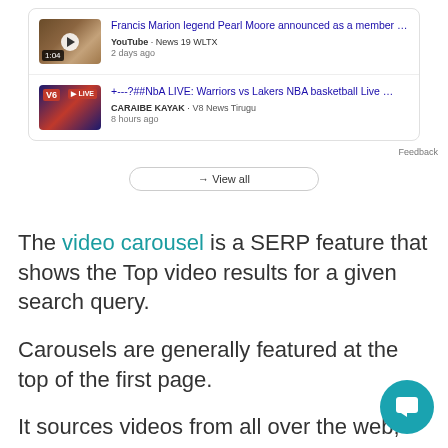[Figure (screenshot): Google SERP video carousel showing two video results: 'Francis Marion legend Pearl Moore announced as a member...' from YouTube / News 19 WLTX 2 days ago, and '+---?##NbA LIVE: Warriors vs Lakers NBA basketball Live...' from CARAIBE KAYAK / V8 News Tirugu 8 hours ago. A 'View all' button appears at the bottom.]
The video carousel is a SERP feature that shows the Top video results for a given search query.
Carousels are generally featured at the top of the first page.
It sources videos from all over the web, including YouTube.
YouTube videos are the most common result — according to Statista's research, YouTube is the second-most visited website globally (with over